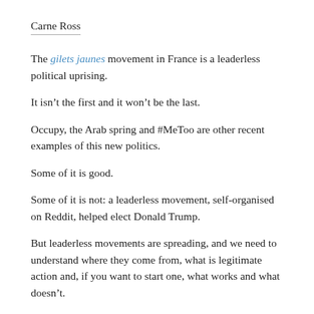Carne Ross
The gilets jaunes movement in France is a leaderless political uprising.
It isn’t the first and it won’t be the last.
Occupy, the Arab spring and #MeToo are other recent examples of this new politics.
Some of it is good.
Some of it is not: a leaderless movement, self-organised on Reddit, helped elect Donald Trump.
But leaderless movements are spreading, and we need to understand where they come from, what is legitimate action and, if you want to start one, what works and what doesn’t.